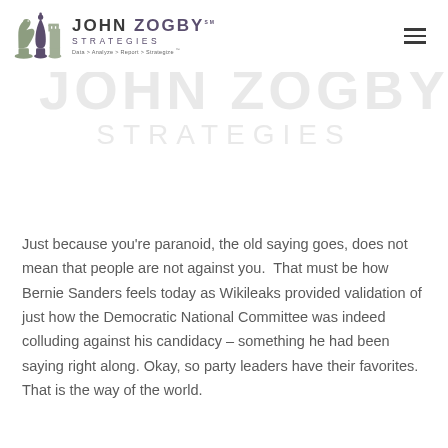JOHN ZOGBY STRATEGIES℠ Data > Analyze > Report > Strategize™
[Figure (logo): John Zogby Strategies watermark logo — large light gray text reading JOHN ZOGBY on first line and STRATEGIES on second line]
Just because you're paranoid, the old saying goes, does not mean that people are not against you.  That must be how Bernie Sanders feels today as Wikileaks provided validation of just how the Democratic National Committee was indeed colluding against his candidacy – something he had been saying right along. Okay, so party leaders have their favorites. That is the way of the world.